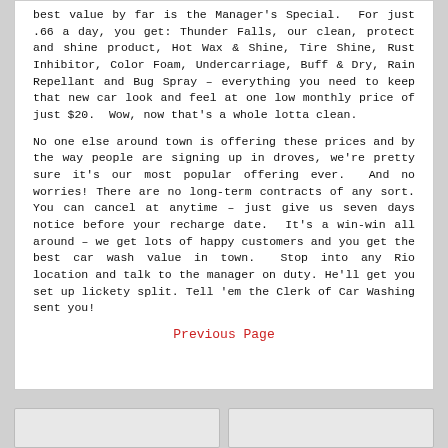best value by far is the Manager's Special.  For just .66 a day, you get: Thunder Falls, our clean, protect and shine product, Hot Wax & Shine, Tire Shine, Rust Inhibitor, Color Foam, Undercarriage, Buff & Dry, Rain Repellant and Bug Spray – everything you need to keep that new car look and feel at one low monthly price of just $20.  Wow, now that's a whole lotta clean.
No one else around town is offering these prices and by the way people are signing up in droves, we're pretty sure it's our most popular offering ever.  And no worries! There are no long-term contracts of any sort. You can cancel at anytime – just give us seven days notice before your recharge date.  It's a win-win all around – we get lots of happy customers and you get the best car wash value in town.  Stop into any Rio location and talk to the manager on duty. He'll get you set up lickety split. Tell 'em the Clerk of Car Washing sent you!
Previous Page